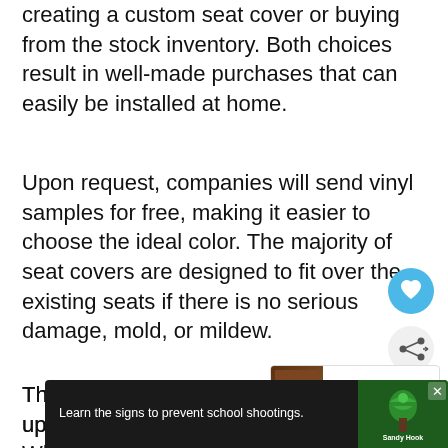creating a custom seat cover or buying from the stock inventory. Both choices result in well-made purchases that can easily be installed at home.
Upon request, companies will send vinyl samples for free, making it easier to choose the ideal color. The majority of seat covers are designed to fit over the existing seats if there is no serious damage, mold, or mildew.
The company, Jettrim, has been in the upholste business for over thirty years. While their price point is a bit higher than competitors' lo pricing, Jettrim's innovative designs and high-qu C ov
[Figure (screenshot): Sandy Hook Promise advertisement banner at the bottom of the page reading 'Learn the signs to prevent school shootings.']
[Figure (other): Heart/favorite button (blue circle with heart icon) and share button (light circle with share icon) overlaid on content, plus a 'WHAT'S NEXT' promo box for 'Can a jet ski or PWC Pull ...']